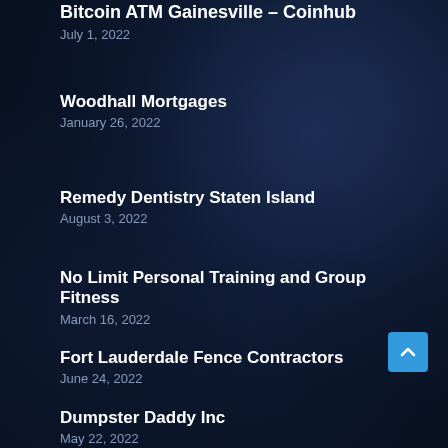Bitcoin ATM Gainesville – Coinhub
July 1, 2022
Woodhall Mortgages
January 26, 2022
Remedy Dentistry Staten Island
August 3, 2022
No Limit Personal Training and Group Fitness
March 16, 2022
Fort Lauderdale Fence Contractors
June 24, 2022
Dumpster Daddy Inc
May 22, 2022